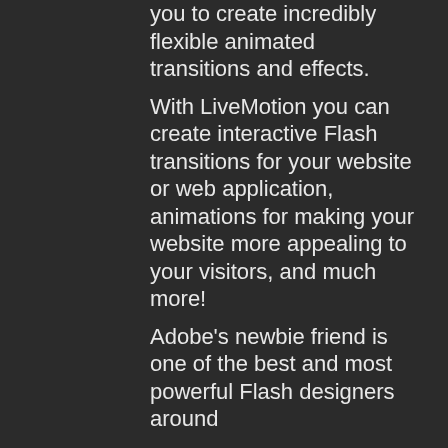you to create incredibly flexible animated transitions and effects.
With LiveMotion you can create interactive Flash transitions for your website or web application, animations for making your website more appealing to your visitors, and much more!
Adobe's newbie friend is one of the best and most powerful Flash designers around
The only downside with LiveMotion is that you have to pay in order to unlock the final result: however, considering the amount of features it offers, this is nothing to worry about.
LiveMotion Features:
- Create and customize interactive Flash transitions for your website or web application
- Add your own text, shapes, animation and transitions
- Choose from hundreds of different